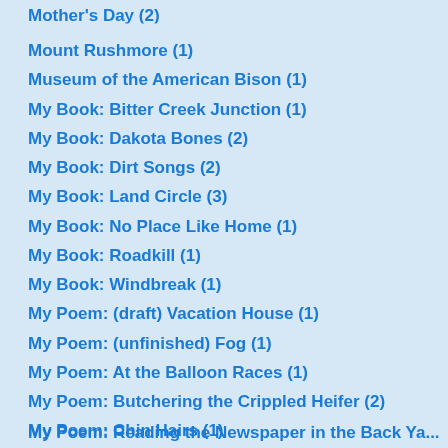Mount Rushmore (1)
Museum of the American Bison (1)
My Book: Bitter Creek Junction (1)
My Book: Dakota Bones (2)
My Book: Dirt Songs (2)
My Book: Land Circle (3)
My Book: No Place Like Home (1)
My Book: Roadkill (1)
My Book: Windbreak (1)
My Poem: (draft) Vacation House (1)
My Poem: (unfinished) Fog (1)
My Poem: At the Balloon Races (1)
My Poem: Butchering the Crippled Heifer (2)
My Poem: Chin Hairs (1)
My Poem: Clara in the Post Office (1)
My Poem: Coffee Cup Cafe (1)
My Poem: In This Town You're Still Alive (1)
My Poem: Memorial Day (1)
My Poem: Reading the Newspaper in the Backyard (partial)